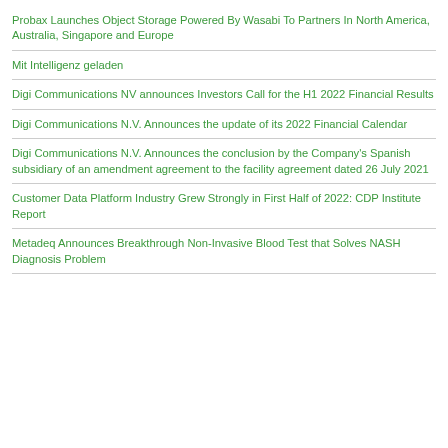Probax Launches Object Storage Powered By Wasabi To Partners In North America, Australia, Singapore and Europe
Mit Intelligenz geladen
Digi Communications NV announces Investors Call for the H1 2022 Financial Results
Digi Communications N.V. Announces the update of its 2022 Financial Calendar
Digi Communications N.V. Announces the conclusion by the Company's Spanish subsidiary of an amendment agreement to the facility agreement dated 26 July 2021
Customer Data Platform Industry Grew Strongly in First Half of 2022: CDP Institute Report
Metadeq Announces Breakthrough Non-Invasive Blood Test that Solves NASH Diagnosis Problem